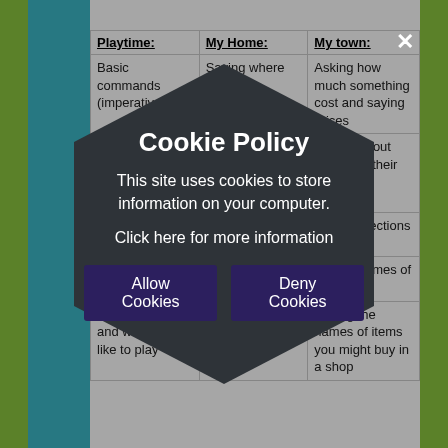| Playtime: | My Home: | My town: |
| --- | --- | --- |
| Basic commands (imperatives) | Saying where they live | Asking how much something cost and saying prices |
| Saying what's in the environment | Identify a variety of items (furniture and rooms) | Talking about what is in their town |
| (learning animal names) |  | Giving directions |
|  |  | Saying names of shops |
| Saying what and where they like to play |  | Saying the names of items you might buy in a shop |
[Figure (infographic): Cookie Policy modal overlay with hexagonal dark background shape. Contains title 'Cookie Policy', text 'This site uses cookies to store information on your computer.', a link 'Click here for more information', and two buttons: 'Allow Cookies' and 'Deny Cookies'. A close X button is visible at the top.]